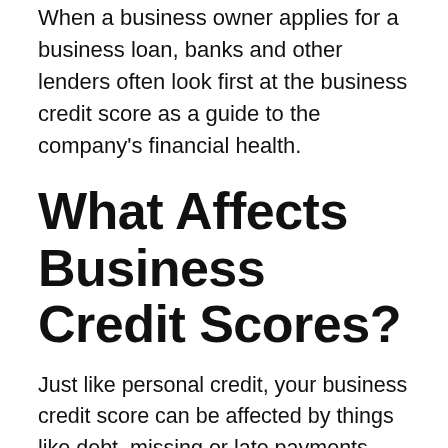When a business owner applies for a business loan, banks and other lenders often look first at the business credit score as a guide to the company's financial health.
What Affects Business Credit Scores?
Just like personal credit, your business credit score can be affected by things like debt, missing or late payments, collections, liens & judgments, charge offs, and the establishing of accounts in the name of the business that are in good standing. Obviously, securing a business loan can impact a business and its credit score in a positive way.